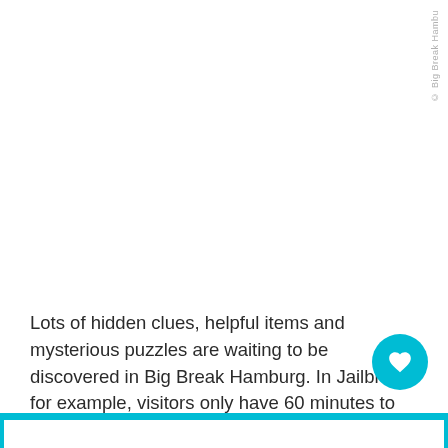© Big Break Hambu
Lots of hidden clues, helpful items and mysterious puzzles are waiting to be discovered in Big Break Hamburg. In Jailbreak, for example, visitors only have 60 minutes to trick the guards and break out of prison in the world-famous "Der Hamburger Trakt". Excitement and thrills are guaranteed!
[Figure (other): Cyan/blue floating action button with heart icon in bottom right, and a cyan blue bar at the bottom of the page]